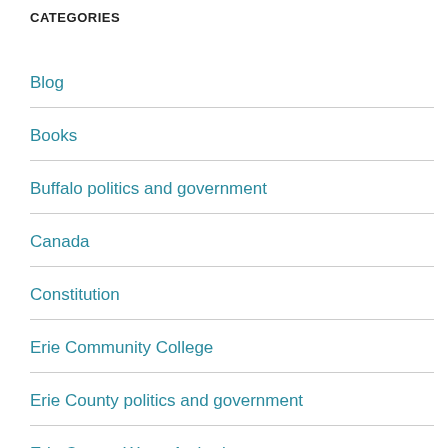CATEGORIES
Blog
Books
Buffalo politics and government
Canada
Constitution
Erie Community College
Erie County politics and government
Erie County Water Authority